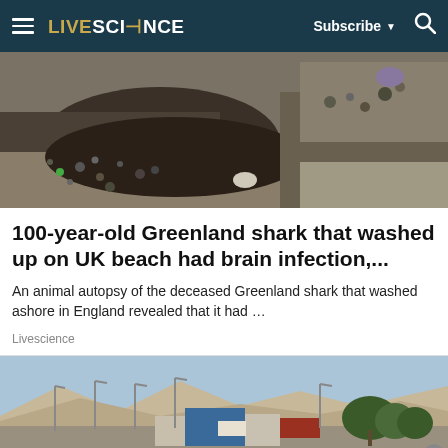LIVESCIENCE — Subscribe — Search
[Figure (photo): Close-up photo of a sandy/rocky beach with scattered pebbles and stones, dark soil visible]
100-year-old Greenland shark that washed up on UK beach had brain infection,...
An animal autopsy of the deceased Greenland shark that washed ashore in England revealed that it had ...
Livescience
[Figure (photo): Panoramic photo of a desert/arid landscape with street lights, buildings, and trees in the background under a blue sky]